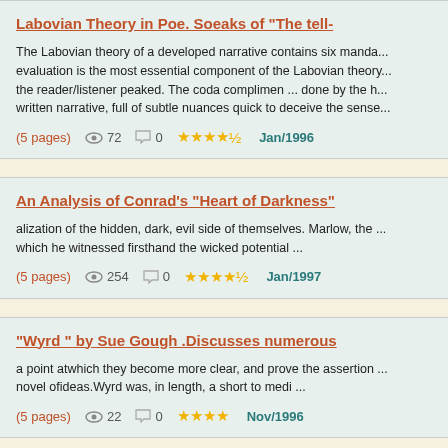Labovian Theory in Poe. Soeaks of "The tell-
The Labovian theory of a developed narrative contains six manda... evaluation is the most essential component of the Labovian theory... the reader/listener peaked. The coda complimen ... done by the h... written narrative, full of subtle nuances quick to deceive the sense...
(5 pages)  72  0  ★★★★½  Jan/1996
An Analysis of Conrad's "Heart of Darkness"
alization of the hidden, dark, evil side of themselves. Marlow, the ... which he witnessed firsthand the wicked potential ...
(5 pages)  254  0  ★★★★½  Jan/1997
"Wyrd " by Sue Gough .Discusses numerous
a point atwhich they become more clear, and prove the assertion ... novel ofideas.Wyrd was, in length, a short to medi ...
(5 pages)  22  0  ★★★★  Nov/1996